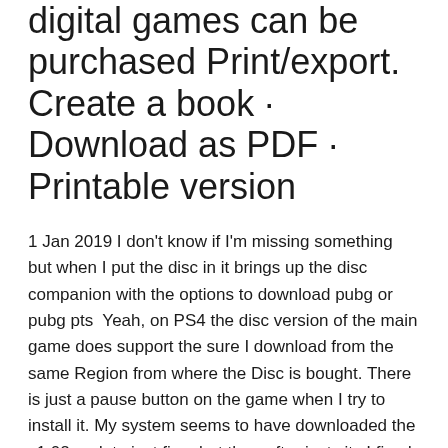digital games can be purchased Print/export. Create a book · Download as PDF · Printable version
1 Jan 2019 I don't know if I'm missing something but when I put the disc in it brings up the disc companion with the options to download pubg or pubg pts  Yeah, on PS4 the disc version of the main game does support the sure I download from the same Region from where the Disc is bought. There is just a pause button on the game when I try to install it. My system seems to have downloaded the v1.02 update just fine, but thereafter just sits I fixed the issue with one of my games a while back simply by giving the disc a wipe. 11 Mar 2019 If you plan on buying The Division 2 for PS4 on disc, be prepared to download 90GB. According to a support page for the game spotted by